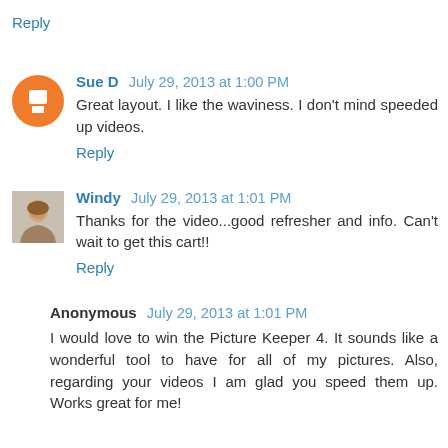Reply
Sue D  July 29, 2013 at 1:00 PM
Great layout. I like the waviness. I don't mind speeded up videos.
Reply
Windy  July 29, 2013 at 1:01 PM
Thanks for the video...good refresher and info. Can't wait to get this cart!!
Reply
Anonymous  July 29, 2013 at 1:01 PM
I would love to win the Picture Keeper 4. It sounds like a wonderful tool to have for all of my pictures. Also, regarding your videos I am glad you speed them up. Works great for me!